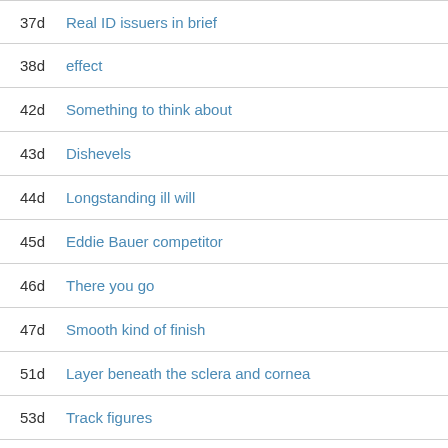37d Real ID issuers in brief
38d effect
42d Something to think about
43d Dishevels
44d Longstanding ill will
45d Eddie Bauer competitor
46d There you go
47d Smooth kind of finish
51d Layer beneath the sclera and cornea
53d Track figures